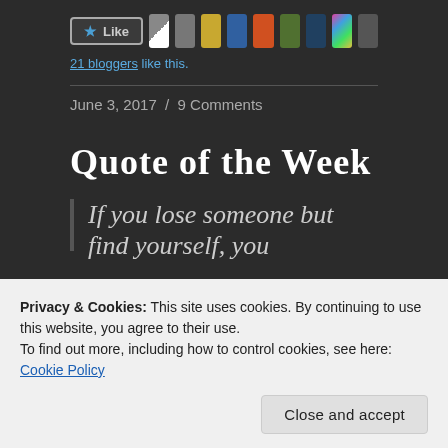[Figure (other): Like button with star icon and profile avatar thumbnails of 21 bloggers]
21 bloggers like this.
June 3, 2017  /  9 Comments
Quote of the Week
If you lose someone but find yourself, you
Privacy & Cookies: This site uses cookies. By continuing to use this website, you agree to their use.
To find out more, including how to control cookies, see here: Cookie Policy
Close and accept